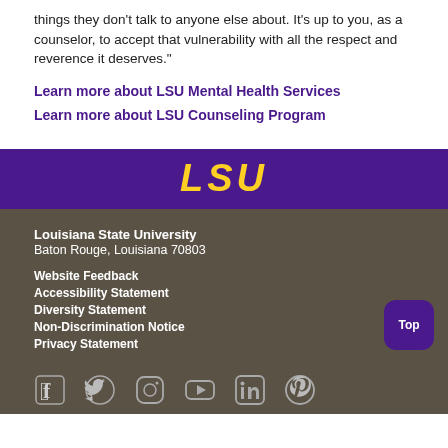things they don't talk to anyone else about. It's up to you, as a counselor, to accept that vulnerability with all the respect and reverence it deserves."
Learn more about LSU Mental Health Services
Learn more about LSU Counseling Program
[Figure (logo): LSU wordmark in gold italic text on purple banner background]
Louisiana State University
Baton Rouge, Louisiana 70803
Website Feedback
Accessibility Statement
Diversity Statement
Non-Discrimination Notice
Privacy Statement
[Figure (infographic): Social media icons: Facebook, Twitter, Instagram, YouTube, LinkedIn, Pinterest on dark background]
Top